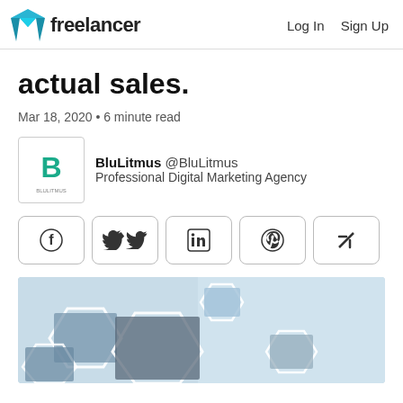freelancer  Log In  Sign Up
actual sales.
Mar 18, 2020 • 6 minute read
BluLitmus @BluLitmus
Professional Digital Marketing Agency
[Figure (other): Social share buttons: Facebook, Twitter, LinkedIn, Pinterest, and a link/share icon]
[Figure (photo): Hero image showing a digital marketing network concept with hexagonal frames containing photos of people in business settings, handshakes, and office environments, with a light blue toned background]